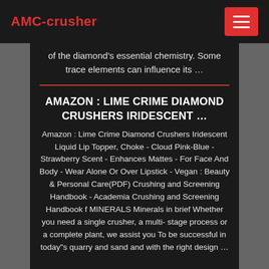AMC-crusher
of the diamond's essential chemistry. Some trace elements can influence its …
AMAZON : LIME CRIME DIAMOND CRUSHERS IRIDESCENT …
Amazon : Lime Crime Diamond Crushers Iridescent Liquid Lip Topper, Choke - Cloud Pink-Blue - Strawberry Scent - Enhances Mattes - For Face And Body - Wear Alone Or Over Lipstick - Vegan : Beauty & Personal Care(PDF) Crushing and Screening Handbook - Academia Crushing and Screening Handbook f MINERALS Minerals in brief Whether you need a single crusher, a multi- stage process or a complete plant, we assist you To be successful in today"s quarry and sand and with the right design …